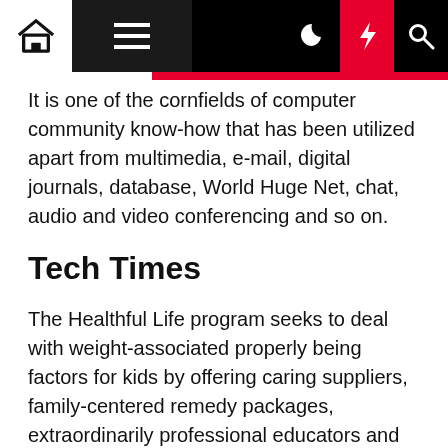[Navigation bar with home, menu, moon, bolt, search icons]
It is one of the cornfields of computer community know-how that has been utilized apart from multimedia, e-mail, digital journals, database, World Huge Net, chat, audio and video conferencing and so on.
Tech Times
The Healthful Life program seeks to deal with weight-associated properly being factors for kids by offering caring suppliers, family-centered remedy packages, extraordinarily professional educators and researchers, and durable group partnerships. Selling Skilled is a digital market and on-line selling biggest multi vendor wordpress theme 2016 3a WordPress theme with 7 demos.Posted on Would possibly 19 2016 by Marisa Tracie in Weblog Enterprise Enchancment WordPress Correct now we